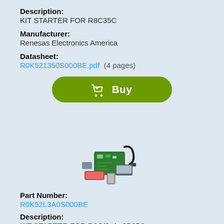Description:
KIT STARTER FOR R8C35C
Manufacturer:
Renesas Electronics America
Datasheet:
R0K521350S000BE.pdf  (4 pages)
[Figure (other): Green rounded Buy button with shopping cart icon]
[Figure (photo): Product photo of starter kit for R8C/3xC including circuit board, cables, LCD, and connectors]
Part Number:
R0K52L3A0S000BE
Description:
KIT STARTER FOR R8C/3xA+3B35C